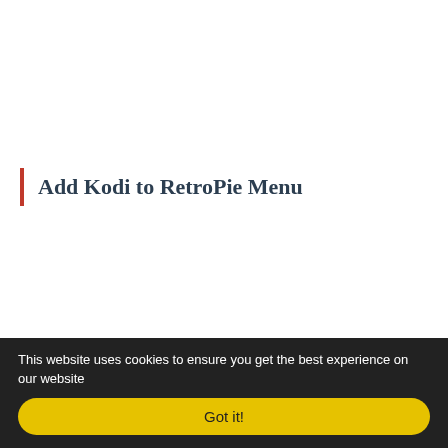Add Kodi to RetroPie Menu
This website uses cookies to ensure you get the best experience on our website
Got it!